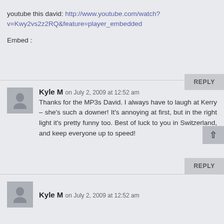youtube this david: http://www.youtube.com/watch?v=Kwy2vs2z2RQ&feature=player_embedded
Embed :
REPLY
Kyle M on July 2, 2009 at 12:52 am
Thanks for the MP3s David. I always have to laugh at Kerry – she's such a downer! It's annoying at first, but in the right light it's pretty funny too. Best of luck to you in Switzerland, and keep everyone up to speed!
REPLY
Kyle M on July 2, 2009 at 12:52 am